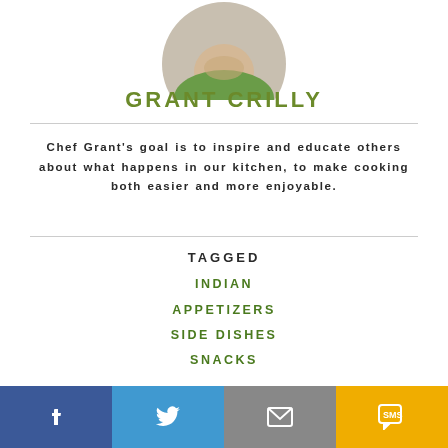[Figure (photo): Circular cropped photo of Chef Grant Crilly wearing a green shirt, showing chin/neck area (top portion of face cropped).]
GRANT CRILLY
Chef Grant's goal is to inspire and educate others about what happens in our kitchen, to make cooking both easier and more enjoyable.
TAGGED
INDIAN
APPETIZERS
SIDE DISHES
SNACKS
MORE RECIPES FROM THIS CHEF
[Figure (other): Scroll-to-top button: grey circle with white upward chevron arrow.]
[Figure (other): Bottom social share bar with four buttons: Facebook (blue, f icon), Twitter (light blue, bird icon), Email (grey, envelope icon), SMS (yellow/gold, SMS icon).]